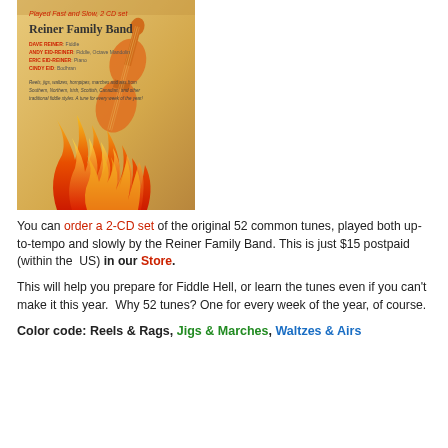[Figure (illustration): Album cover for 'Played Fast and Slow, 2 CD set' by Reiner Family Band, featuring orange and red flame graphics on a tan/wood background with a fiddle silhouette]
You can order a 2-CD set of the original 52 common tunes, played both up-to-tempo and slowly by the Reiner Family Band. This is just $15 postpaid (within the US) in our Store.
This will help you prepare for Fiddle Hell, or learn the tunes even if you can't make it this year. Why 52 tunes? One for every week of the year, of course.
Color code: Reels & Rags, Jigs & Marches, Waltzes & Airs